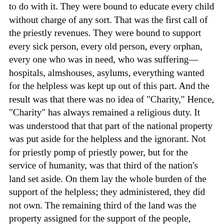to do with it. They were bound to educate every child without charge of any sort. That was the first call of the priestly revenues. They were bound to support every sick person, every old person, every orphan, every one who was in need, who was suffering—hospitals, almshouses, asylums, everything wanted for the helpless was kept up out of this part. And the result was that there was no idea of "Charity," Hence, "Charity" has always remained a religious duty. It was understood that that part of the national property was put aside for the helpless and the ignorant. Not for priestly pomp of priestly power, but for the service of humanity, was that third of the nation's land set aside. On them lay the whole burden of the support of the helpless; they administered, they did not own. The remaining third of the land was the property assigned for the support of the people, divided up into villages, townships, and so on. All those areas were held by the people who lived on them, and they could not be turned away from them. The land could not be alienated, because, theoretically, it was not theirs to sell; it could not be lost by debt or mortgage, for they had no right in it